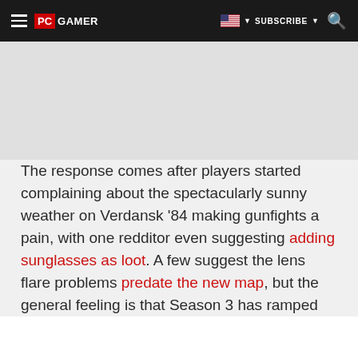PC GAMER | SUBSCRIBE
[Figure (screenshot): Gray advertisement placeholder area]
The response comes after players started complaining about the spectacularly sunny weather on Verdansk '84 making gunfights a pain, with one redditor even suggesting adding sunglasses as loot. A few suggest the lens flare problems predate the new map, but the general feeling is that Season 3 has ramped up the issue exponentially. Verdansk is just too dang bright.
Recommending Recorded across Record VK settings